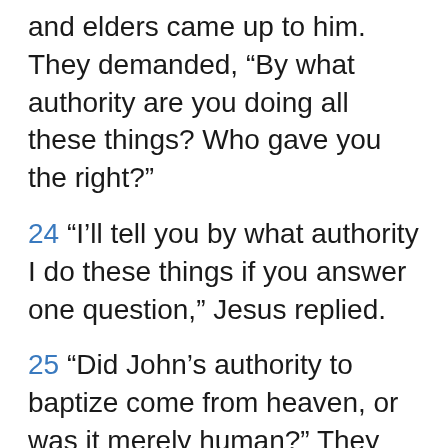and elders came up to him. They demanded, “By what authority are you doing all these things? Who gave you the right?”
24 “I’ll tell you by what authority I do these things if you answer one question,” Jesus replied.
25 “Did John’s authority to baptize come from heaven, or was it merely human?” They talked it over among themselves. “If we say it was from heaven, he will ask us why we didn’t believe John.
26 But if we say it was merely human,